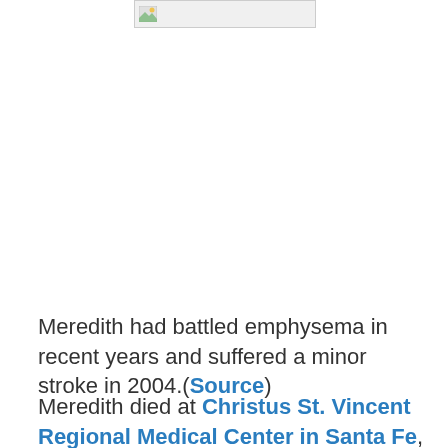[Figure (photo): Broken/placeholder image thumbnail in the upper center of the page]
Meredith had battled emphysema in recent years and suffered a minor stroke in 2004.(Source)
Meredith died at Christus St. Vincent Regional Medical Center in Santa Fe, N.M., a hospital spokesman confirmed this morning. Meredith's wife Susan and